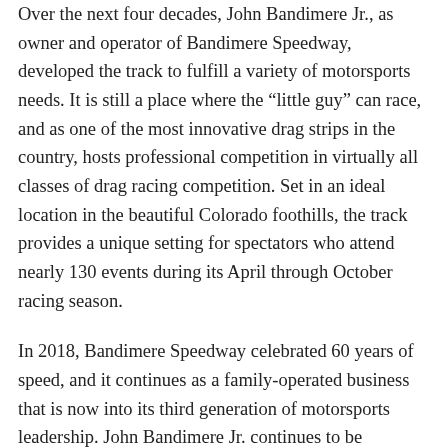Over the next four decades, John Bandimere Jr., as owner and operator of Bandimere Speedway, developed the track to fulfill a variety of motorsports needs. It is still a place where the “little guy” can race, and as one of the most innovative drag strips in the country, hosts professional competition in virtually all classes of drag racing competition. Set in an ideal location in the beautiful Colorado foothills, the track provides a unique setting for spectators who attend nearly 130 events during its April through October racing season.
In 2018, Bandimere Speedway celebrated 60 years of speed, and it continues as a family-operated business that is now into its third generation of motorsports leadership. John Bandimere Jr. continues to be involved as Chair of the Board and, most recently, the facility’s CSO, which stands for Chief Spiritual Officer.
John has said: “Bandimere Speedway has been